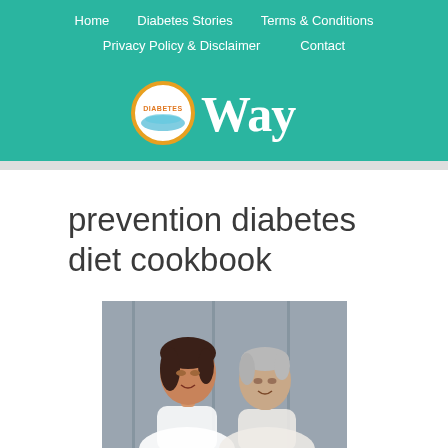Home | Diabetes Stories | Terms & Conditions | Privacy Policy & Disclaimer | Contact
[Figure (logo): DiabetesWay logo with orange circle and white 'Way' text on teal background]
prevention diabetes diet cookbook
[Figure (photo): Two women smiling together, one younger with dark hair and one older with short gray hair, both wearing white lace tops, in front of a gray door background]